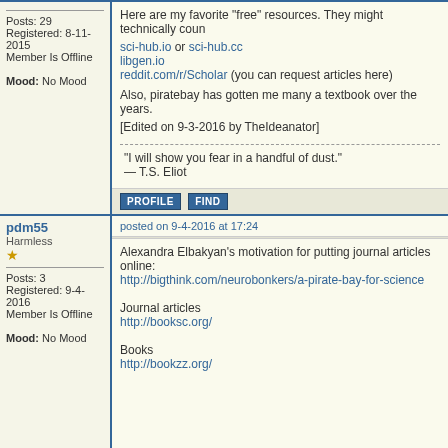Posts: 29
Registered: 8-11-2015
Member Is Offline
Mood: No Mood
Here are my favorite "free" resources. They might technically coun
sci-hub.io or sci-hub.cc
libgen.io
reddit.com/r/Scholar (you can request articles here)

Also, piratebay has gotten me many a textbook over the years.

[Edited on 9-3-2016 by TheIdeanator]
“I will show you fear in a handful of dust.”
— T.S. Eliot
pdm55
Harmless
Posts: 3
Registered: 9-4-2016
Member Is Offline
Mood: No Mood
posted on 9-4-2016 at 17:24
Alexandra Elbakyan's motivation for putting journal articles online:
http://bigthink.com/neurobonkers/a-pirate-bay-for-science

Journal articles
http://booksc.org/

Books
http://bookzz.org/